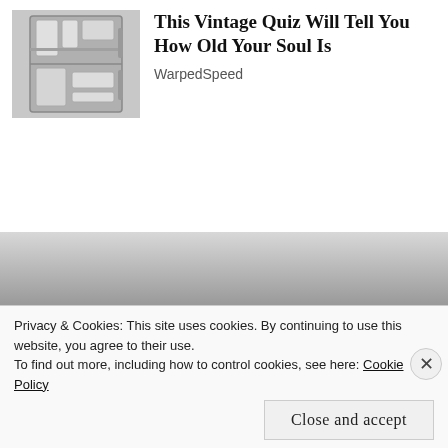[Figure (photo): Thumbnail image of a refrigerator interior with items visible]
This Vintage Quiz Will Tell You How Old Your Soul Is
WarpedSpeed
[Figure (photo): Large partially visible banner image with gradient from light gray to dark, with partially visible bold white text reading '[Died At 60: Sharon Mango To This']
Privacy & Cookies: This site uses cookies. By continuing to use this website, you agree to their use.
To find out more, including how to control cookies, see here: Cookie Policy
Close and accept